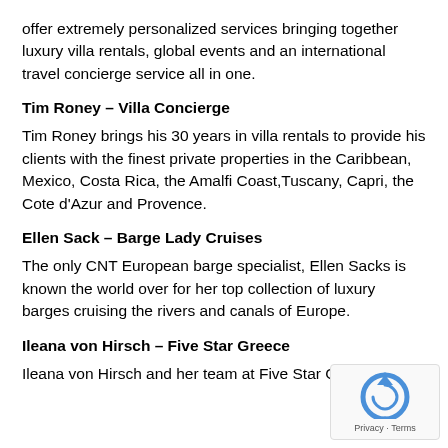offer extremely personalized services bringing together luxury villa rentals, global events and an international travel concierge service all in one.
Tim Roney – Villa Concierge
Tim Roney brings his 30 years in villa rentals to provide his clients with the finest private properties in the Caribbean, Mexico, Costa Rica, the Amalfi Coast,Tuscany, Capri, the Cote d'Azur and Provence.
Ellen Sack – Barge Lady Cruises
The only CNT European barge specialist, Ellen Sacks is known the world over for her top collection of luxury barges cruising the rivers and canals of Europe.
Ileana von Hirsch – Five Star Greece
Ileana von Hirsch and her team at Five Star Greece